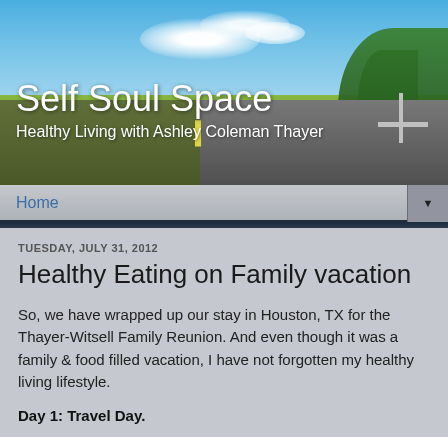[Figure (photo): Blog header banner with a road stretching into the distance, blue sky with white clouds, green trees on the right, showing a highway perspective view.]
Self Soul Space
Healthy Living with Ashley Coleman Thayer
Home
TUESDAY, JULY 31, 2012
Healthy Eating on Family vacation
So, we have wrapped up our stay in Houston, TX for the Thayer-Witsell Family Reunion.  And even though it was a family & food filled vacation, I have not forgotten my healthy living lifestyle.
Day 1: Travel Day.